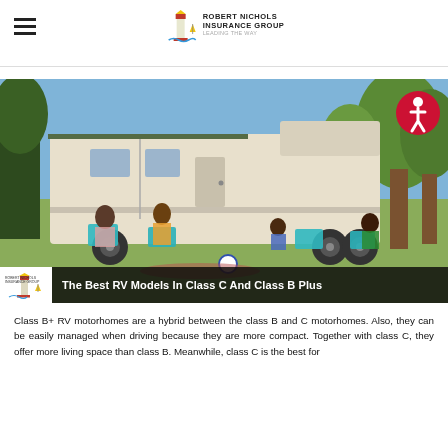[Figure (logo): Robert Nichols Insurance Group logo with lighthouse icon and tagline]
[Figure (photo): Family relaxing in lawn chairs outside a large Class C RV motorhome parked in a grassy outdoor area with trees. Image banner reads: The Best RV Models In Class C And Class B Plus]
Class B+ RV motorhomes are a hybrid between the class B and C motorhomes. Also, they can be easily managed when driving because they are more compact. Together with class C, they offer more living space than class B. Meanwhile, class C is the best for